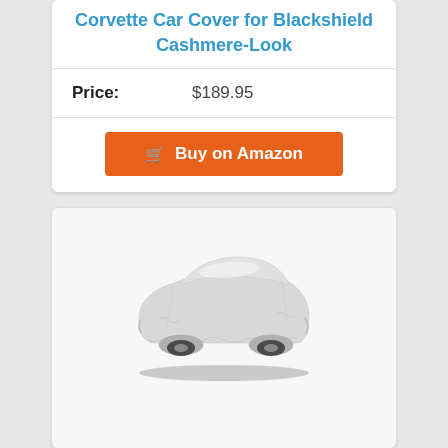Corvette Car Cover for Blackshield Cashmere-Look
Price: $189.95
Buy on Amazon
[Figure (photo): A car covered with a light grey cashmere-look car cover, shown on a white background with a slight shadow underneath.]